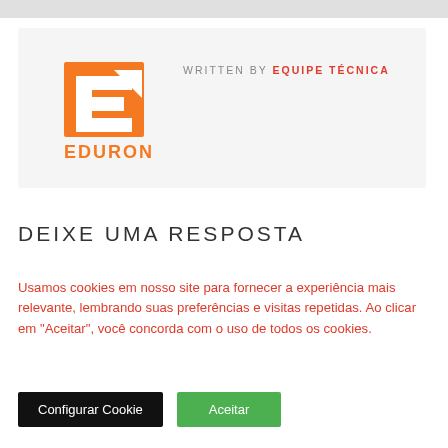[Figure (logo): Eduron logo - orange square with stylized E letter and arrow, with EDURON text below in orange]
WRITTEN BY EQUIPE TÉCNICA
DEIXE UMA RESPOSTA
Usamos cookies em nosso site para fornecer a experiência mais relevante, lembrando suas preferências e visitas repetidas. Ao clicar em "Aceitar", você concorda com o uso de todos os cookies.
Configurar Cookie
Aceitar